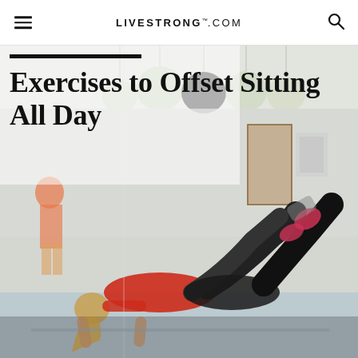LIVESTRONG.COM
[Figure (photo): Two women doing a plank/mountain climber exercise on a gym floor, one wearing a red shirt and black leggings, one in black. Background shows a bright studio with exercise balls hanging from ceiling and posters on the wall.]
Exercises to Offset Sitting All Day